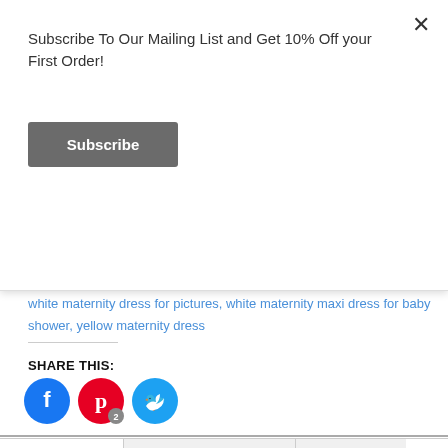Subscribe To Our Mailing List and Get 10% Off your First Order!
Subscribe
dress for baby shower, white maternity dress for photoshoot, white maternity dress for pictures, white maternity maxi dress for baby shower, yellow maternity dress
SHARE THIS:
[Figure (other): Social share icons: Facebook (blue circle), Pinterest (red circle with badge '2'), Twitter (light blue circle)]
Description
Additional information
Reviews (0)
DESCRIPTION
CLARA TULLE MATERNITY DRESS